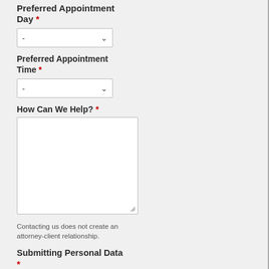Preferred Appointment Day *
-  (dropdown)
Preferred Appointment Time *
-  (dropdown)
How Can We Help? *
[Figure (other): Empty textarea input box for user message]
Contacting us does not create an attorney-client relationship.
Submitting Personal Data *
By using this form you agree with the storage and handling